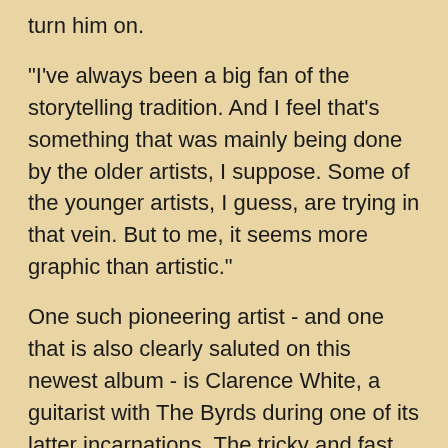turn him on.
"I've always been a big fan of the storytelling tradition. And I feel that's something that was mainly being done by the older artists, I suppose. Some of the younger artists, I guess, are trying in that vein. But to me, it seems more graphic than artistic."
One such pioneering artist - and one that is also clearly saluted on this newest album - is Clarence White, a guitarist with The Byrds during one of its latter incarnations. The tricky and fast picking of the instrumental "Northumberland West" is a fitting re-creation of his awe-inspiring playing style.
"Clarence White was a genuine innovator, who was one of the best musicians of our time," Dallas states